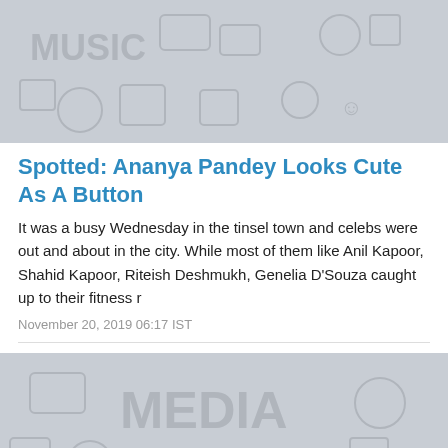[Figure (illustration): Decorative patterned placeholder image with music and entertainment icons in light gray tones]
Spotted: Ananya Pandey Looks Cute As A Button
It was a busy Wednesday in the tinsel town and celebs were out and about in the city. While most of them like Anil Kapoor, Shahid Kapoor, Riteish Deshmukh, Genelia D'Souza caught up to their fitness r
November 20, 2019 06:17 IST
[Figure (illustration): Decorative patterned placeholder image with media and entertainment icons in light gray tones, partially visible]